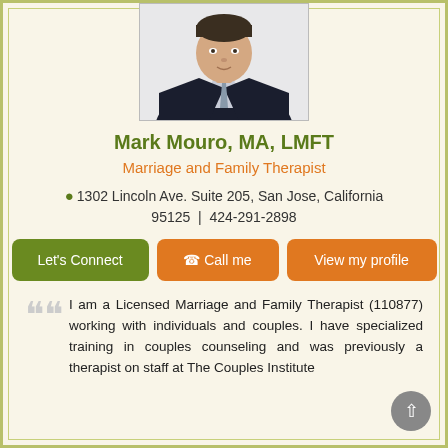[Figure (photo): Headshot of Mark Mouro, a man in a dark suit jacket with light shirt, photographed from shoulders up against a light background.]
Mark Mouro, MA, LMFT
Marriage and Family Therapist
1302 Lincoln Ave. Suite 205, San Jose, California 95125 | 424-291-2898
Let's Connect | Call me | View my profile
I am a Licensed Marriage and Family Therapist (110877) working with individuals and couples. I have specialized training in couples counseling and was previously a therapist on staff at The Couples Institute